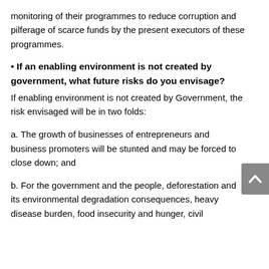monitoring of their programmes to reduce corruption and pilferage of scarce funds by the present executors of these programmes.
If an enabling environment is not created by government, what future risks do you envisage?
If enabling environment is not created by Government, the risk envisaged will be in two folds:
a. The growth of businesses of entrepreneurs and business promoters will be stunted and may be forced to close down; and
b. For the government and the people, deforestation and its environmental degradation consequences, heavy disease burden, food insecurity and hunger, civil